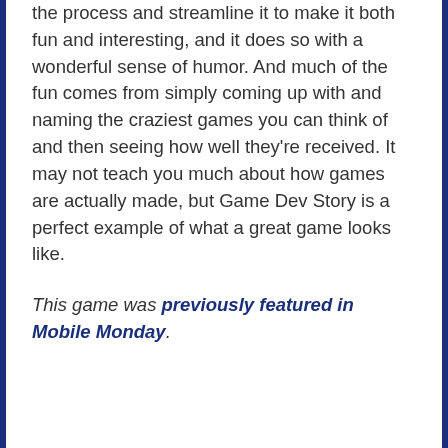the process and streamline it to make it both fun and interesting, and it does so with a wonderful sense of humor. And much of the fun comes from simply coming up with and naming the craziest games you can think of and then seeing how well they're received. It may not teach you much about how games are actually made, but Game Dev Story is a perfect example of what a great game looks like.
This game was previously featured in Mobile Monday.